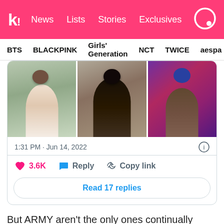k! News Lists Stories Exclusives
BTS BLACKPINK Girls' Generation NCT TWICE aespa
[Figure (screenshot): Tweet card showing three photos of BTS member Jin, with timestamp 1:31 PM · Jun 14, 2022, 3.6K likes, Reply and Copy link actions, and Read 17 replies button]
But ARMY aren't the only ones continually voicing their support of actor Jin. When Jin brought up filming in the same location as Dune…